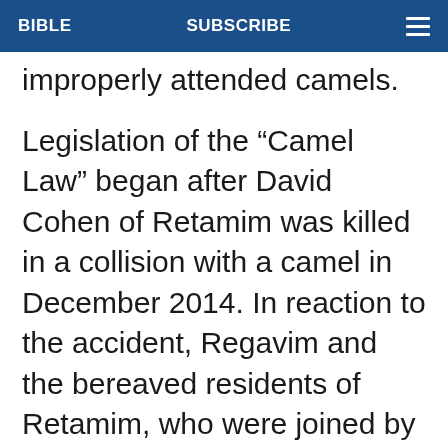BIBLE   SUBSCRIBE   ≡
improperly attended camels.
Legislation of the “Camel Law” began after David Cohen of Retamim was killed in a collision with a camel in December 2014. In reaction to the accident, Regavim and the bereaved residents of Retamim, who were joined by MKs Betzalel Smotrich and Eitan Cabel, spearheaded efforts to combat the scourge of roaming camels.